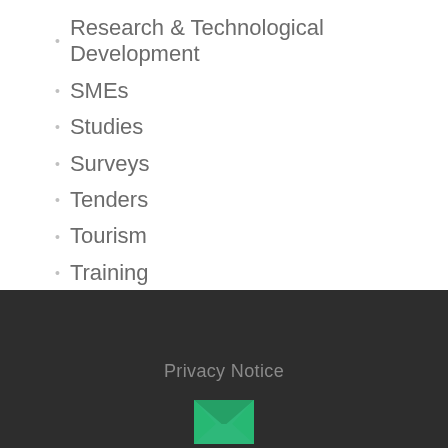Research & Technological Development
SMEs
Studies
Surveys
Tenders
Tourism
Training
Privacy Notice